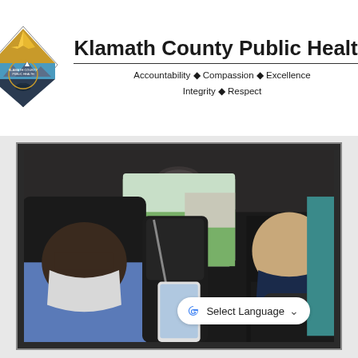[Figure (logo): Klamath County Public Health diamond-shaped logo with mountain landscape, eagle, and text]
Klamath County Public Health
Accountability • Compassion • Excellence
Integrity • Respect
[Figure (photo): Two people wearing face masks inside a car. The passenger in the backseat is holding a smartphone and looking at the driver, who is turned around wearing a dark mask.]
Select Language